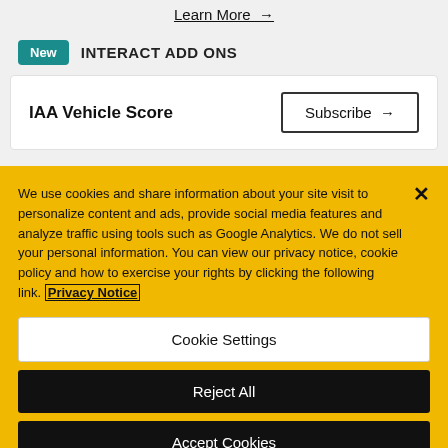Learn More →
New  INTERACT ADD ONS
IAA Vehicle Score
Subscribe →
We use cookies and share information about your site visit to personalize content and ads, provide social media features and analyze traffic using tools such as Google Analytics. We do not sell your personal information. You can view our privacy notice, cookie policy and how to exercise your rights by clicking the following link. Privacy Notice
Cookie Settings
Reject All
Accept Cookies